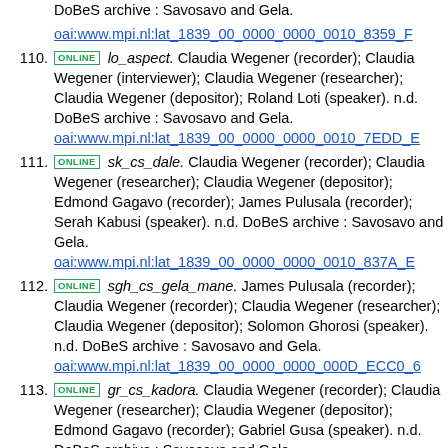DoBeS archive : Savosavo and Gela. oai:www.mpi.nl:lat_1839_00_0000_0000_0010_8359_F
110. ONLINE lo_aspect. Claudia Wegener (recorder); Claudia Wegener (interviewer); Claudia Wegener (researcher); Claudia Wegener (depositor); Roland Loti (speaker). n.d. DoBeS archive : Savosavo and Gela. oai:www.mpi.nl:lat_1839_00_0000_0000_0010_7EDD_E
111. ONLINE sk_cs_dale. Claudia Wegener (recorder); Claudia Wegener (researcher); Claudia Wegener (depositor); Edmond Gagavo (recorder); James Pulusala (recorder); Serah Kabusi (speaker). n.d. DoBeS archive : Savosavo and Gela. oai:www.mpi.nl:lat_1839_00_0000_0000_0010_837A_E
112. ONLINE sgh_cs_gela_mane. James Pulusala (recorder); Claudia Wegener (recorder); Claudia Wegener (researcher); Claudia Wegener (depositor); Solomon Ghorosi (speaker). n.d. DoBeS archive : Savosavo and Gela. oai:www.mpi.nl:lat_1839_00_0000_0000_000D_ECC0_6
113. ONLINE gr_cs_kadora. Claudia Wegener (recorder); Claudia Wegener (researcher); Claudia Wegener (depositor); Edmond Gagavo (recorder); Gabriel Gusa (speaker). n.d. DoBeS archive : Savosavo and Gela. oai:www.mpi.nl:lat_1839_00_0000_0000_0010_838A_E
114. ONLINE ki_vavuru. Claudia Wegener (recorder); Claudia Wegener (researcher); Claudia Wegener (depositor); Edmond Gagavo (recorder); Elizabeth Kiba (speaker). n.d. DoBeS archive : Savosavo and Gela. oai:www.mpi.nl:lat_1839_00_0000_0000_0010_83AA_C
115. ONLINE ... James Pulusala (recorder); Claudia ...